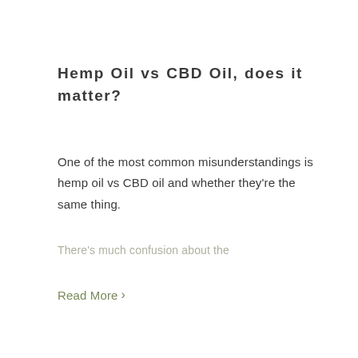Hemp Oil vs CBD Oil, does it matter?
One of the most common misunderstandings is hemp oil vs CBD oil and whether they're the same thing.
There's much confusion about the
Read More >